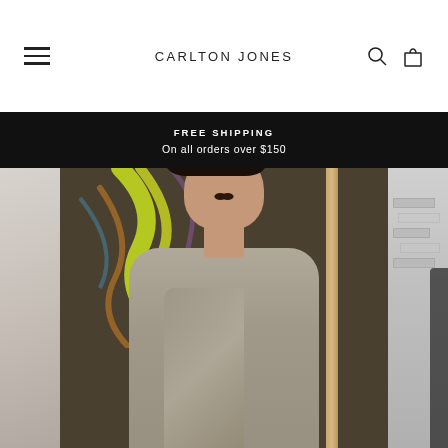CARLTON JONES
FREE SHIPPING
On all orders over $150
[Figure (photo): Hero fashion image: male model with curly dark hair wearing a draped grey sleeveless garment, standing near a doorframe with colorful neon swirl artwork in the background. Partial images of other models visible on left and right edges.]